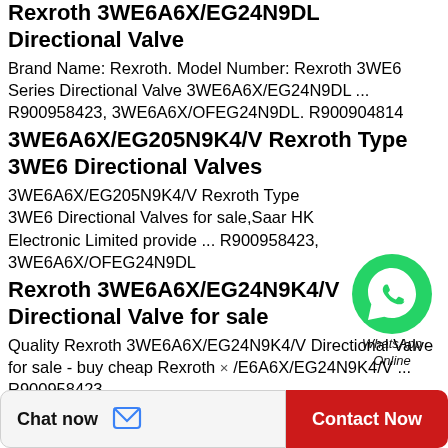Rexroth 3WE6A6X/EG24N9DL Directional Valve
Brand Name: Rexroth. Model Number: Rexroth 3WE6 Series Directional Valve 3WE6A6X/EG24N9DL ... R900958423, 3WE6A6X/OFEG24N9DL. R900904814
3WE6A6X/EG205N9K4/V Rexroth Type 3WE6 Directional Valves
3WE6A6X/EG205N9K4/V Rexroth Type 3WE6 Directional Valves for sale,Saar HK Electronic Limited provide ... R900958423, 3WE6A6X/OFEG24N9DL
Rexroth 3WE6A6X/EG24N9K4/V Directional Valve for sale
Quality Rexroth 3WE6A6X/EG24N9K4/V Directional Valve for sale - buy cheap Rexroth ×/E6A6X/EG24N9K4/V ... R900958423, 3WE6A6X/OFEG24N9DL
[Figure (other): WhatsApp Online contact bubble with green WhatsApp icon]
Rexroth Series 3WE6 - HYDRO-PARTS
Chat now  Contact Now